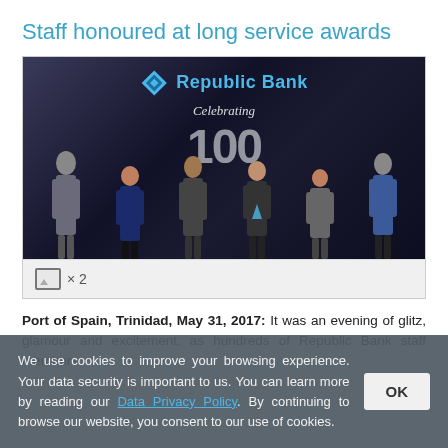Staff honoured at long service awards
[Figure (photo): Group photo of Republic Bank staff members at a long service awards ceremony, standing in front of a Republic Bank backdrop that reads 'Celebrating 100'. Several people hold crystal awards. A strip below the photo shows an image icon and '× 2' indicating a gallery of 2 photos.]
Port of Spain, Trinidad, May 31, 2017: It was an evening of glitz, glamour and excitement, as hundreds of Republic Bank staff members
We use cookies to improve your browsing experience. Your data security is important to us. You can learn more by reading our Data Privacy Policy. By continuing to browse our website, you consent to our use of cookies.